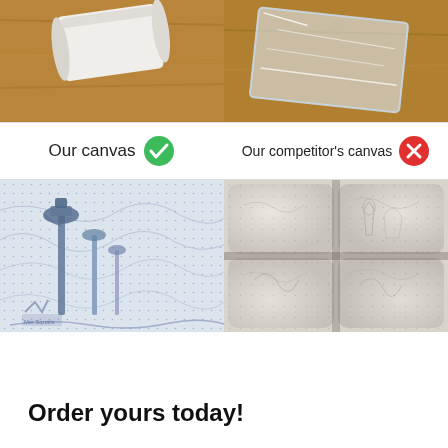[Figure (photo): Side-by-side comparison of two canvases. Top row: left photo shows a neatly rolled/packaged canvas on a wooden table; right photo shows a competitor's canvas wrapped in plastic, also on a wooden table. Middle row: labels 'Our canvas' with green checkmark and 'Our competitor's canvas' with red X. Bottom row: left shows a flat, detailed paint-by-numbers canvas with street lamp illustration; right shows a competitor's canvas with deep fold lines and puckered sections.]
Order yours today!